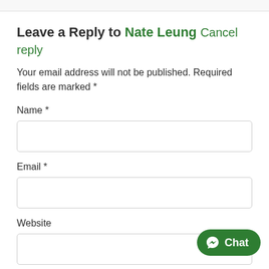Leave a Reply to Nate Leung Cancel reply
Your email address will not be published. Required fields are marked *
Name *
Email *
Website
Comment